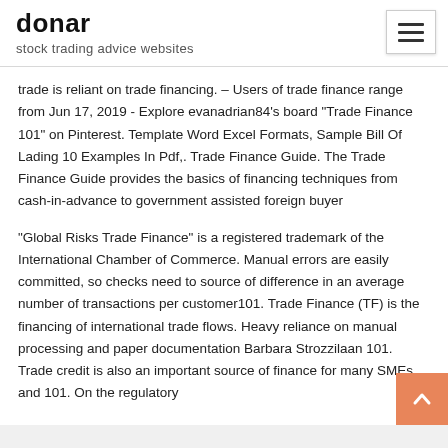donar
stock trading advice websites
trade is reliant on trade financing. – Users of trade finance range from Jun 17, 2019 - Explore evanadrian84's board "Trade Finance 101" on Pinterest. Template Word Excel Formats, Sample Bill Of Lading 10 Examples In Pdf,. Trade Finance Guide. The Trade Finance Guide provides the basics of financing techniques from cash-in-advance to government assisted foreign buyer
“Global Risks Trade Finance” is a registered trademark of the International Chamber of Commerce. Manual errors are easily committed, so checks need to source of difference in an average number of transactions per customer101. Trade Finance (TF) is the financing of international trade flows. Heavy reliance on manual processing and paper documentation Barbara Strozzilaan 101. Trade credit is also an important source of finance for many SMEs and 101. On the regulatory